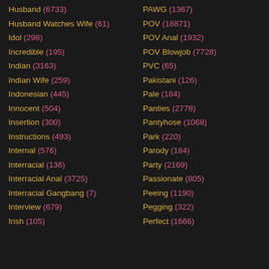Husband (6733)
Husband Watches Wife (61)
Idol (298)
Incredible (195)
Indian (3163)
Indian Wife (259)
Indonesian (445)
Innocent (504)
Insertion (300)
Instructions (493)
Internal (576)
Interracial (136)
Interracial Anal (3725)
Interracial Gangbang (7)
Interview (679)
Irish (105)
PAWG (1367)
POV (18871)
POV Anal (1932)
POV Blowjob (7728)
PVC (65)
Pakistani (126)
Pale (184)
Panties (2778)
Pantyhose (1068)
Park (220)
Parody (184)
Party (2169)
Passionate (805)
Peeing (1190)
Pegging (322)
Perfect (1666)